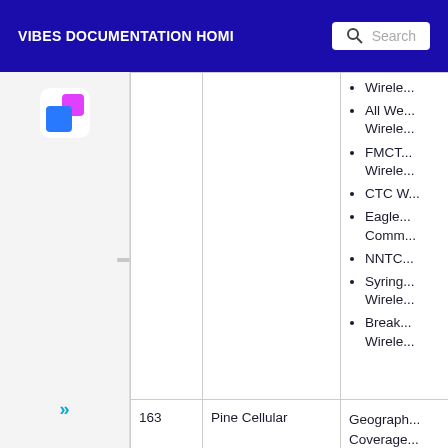VIBES DOCUMENTATION HOME  Search
|  | 163 | Pine Cellular |
| --- | --- | --- |
|  |  | Wirele...
• All We... Wirele...
• FMCT... Wirele...
• CTC W...
• Eagle... Comm...
• NNTC...
• Syring... Wirele...
• Break... Wirele... |
| 163 | Pine Cellular | Geograph... Coverage... McCurtain... Pushmata... Choctaw, Pittsburgh... Atoka, and... |